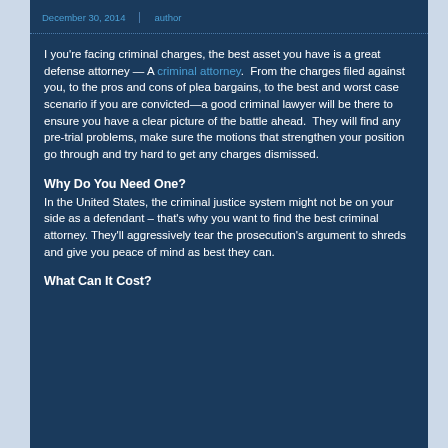December 30, 2014 | author
I you're facing criminal charges, the best asset you have is a great defense attorney — A criminal attorney.  From the charges filed against you, to the pros and cons of plea bargains, to the best and worst case scenario if you are convicted—a good criminal lawyer will be there to ensure you have a clear picture of the battle ahead.  They will find any pre-trial problems, make sure the motions that strengthen your position go through and try hard to get any charges dismissed.
Why Do You Need One?
In the United States, the criminal justice system might not be on your side as a defendant – that's why you want to find the best criminal attorney. They'll aggressively tear the prosecution's argument to shreds and give you peace of mind as best they can.
What Can It Cost?